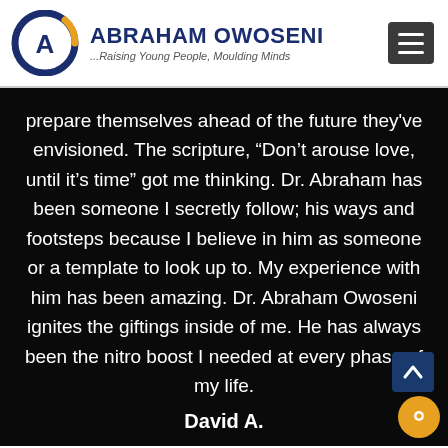[Figure (logo): Abraham Owoseni logo with circular A icon and tagline '...Raising Young People, Moulding Minds']
prepare themselves ahead of the future they've envisioned. The scripture, “Don’t arouse love, until it’s time” got me thinking. Dr. Abraham has been someone I secretly follow; his ways and footsteps because I believe in him as someone or a template to look up to. My experience with him has been amazing. Dr. Abraham Owoseni ignites the giftings inside of me. He has always been the nitro boost I needed at every phase of my life.
David A.